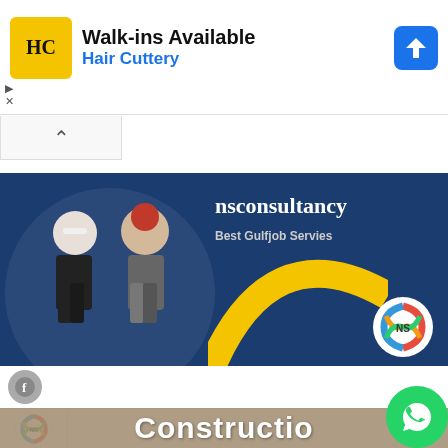[Figure (screenshot): Hair Cuttery advertisement banner with HC logo, 'Walk-ins Available' headline, blue navigation arrow icon, and ad control buttons]
[Figure (screenshot): Collapse/chevron up button bar]
[Figure (screenshot): NS Consultancy promotional banner showing two workers (woman in white hard hat, man in red hard hat), dark blue background, yellow arc decoration, 'nsconsultancy' text, 'Best Gulfjob Servies' tagline, and NS logo]
[Figure (logo): Facebook icon circle]
[Figure (screenshot): NS Consultancy website header bar with NS logo, hamburger menu icon, and WhatsApp floating action button]
Constructio
[Figure (logo): WhatsApp floating action button (green circle with phone icon)]